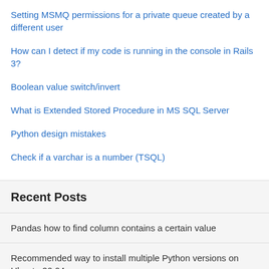Setting MSMQ permissions for a private queue created by a different user
How can I detect if my code is running in the console in Rails 3?
Boolean value switch/invert
What is Extended Stored Procedure in MS SQL Server
Python design mistakes
Check if a varchar is a number (TSQL)
Recent Posts
Pandas how to find column contains a certain value
Recommended way to install multiple Python versions on Ubuntu 20.04